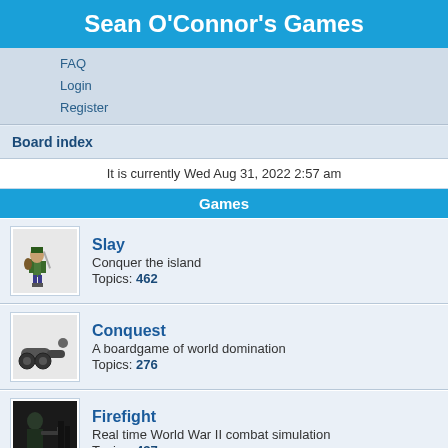Sean O'Connor's Games
FAQ
Login
Register
Board index
It is currently Wed Aug 31, 2022 2:57 am
Games
Slay
Conquer the island
Topics: 462
Conquest
A boardgame of world domination
Topics: 276
Firefight
Real time World War II combat simulation
Topics: 437
Critical Mass
Command a squadron of spaceships
Topics: 443
The General
A boardgame of intense bluffing
Topics: 59